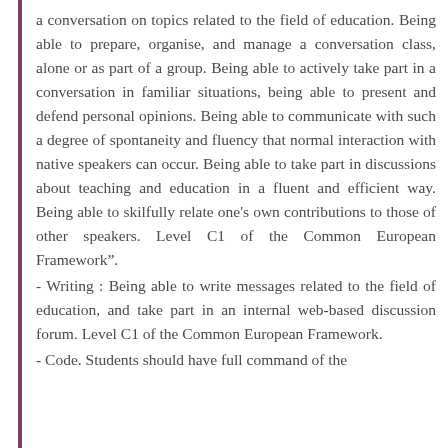a conversation on topics related to the field of education. Being able to prepare, organise, and manage a conversation class, alone or as part of a group. Being able to actively take part in a conversation in familiar situations, being able to present and defend personal opinions. Being able to communicate with such a degree of spontaneity and fluency that normal interaction with native speakers can occur. Being able to take part in discussions about teaching and education in a fluent and efficient way. Being able to skilfully relate one's own contributions to those of other speakers. Level C1 of the Common European Framework".
- Writing : Being able to write messages related to the field of education, and take part in an internal web-based discussion forum. Level C1 of the Common European Framework.
- Code. Students should have full command of the